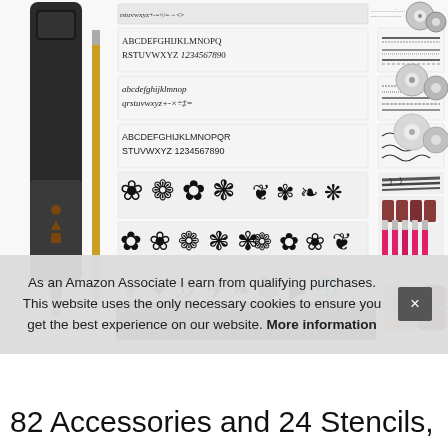[Figure (photo): Product photo showing an engraving pen/rotary tool set with accessories: stencil sheets with letters, numbers, and decorative patterns (flowers, animals, birds, insects), cutting/grinding discs, drill bits, sanding bands, polishing discs, and pink diamond bits.]
As an Amazon Associate I earn from qualifying purchases. This website uses the only necessary cookies to ensure you get the best experience on our website. More information
82 Accessories and 24 Stencils,